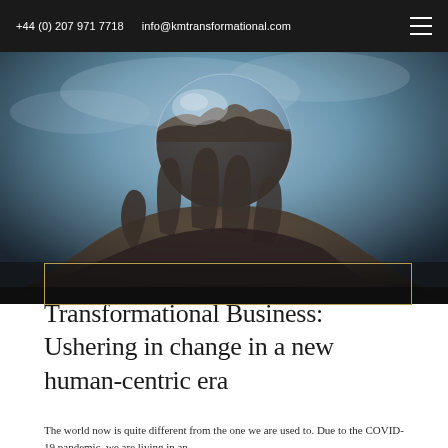+44 (0) 207 971 7718   info@kmtransformational.com
[Figure (photo): A hand holding a transparent crystal glass ball/sphere, with a dramatic cloudy sky reflected or visible through the glass. The image has a dark, moody tone with blueish-grey tones. The hand is reaching upward from the bottom of the frame.]
Transformational Business: Ushering in change in a new human-centric era
The world now is quite different from the one we are used to. Due to the COVID-19 pandemic, we are living in an